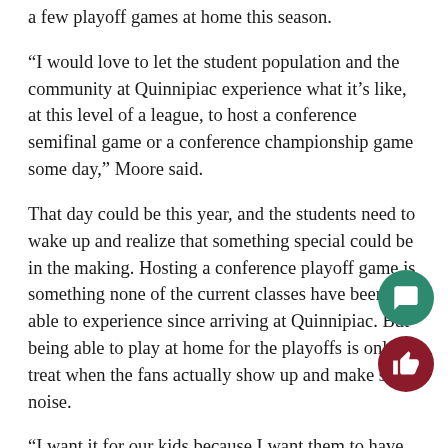a few playoff games at home this season.
“I would love to let the student population and the community at Quinnipiac experience what it’s like, at this level of a league, to host a conference semifinal game or a conference championship game some day,” Moore said.
That day could be this year, and the students need to wake up and realize that something special could be in the making. Hosting a conference playoff game is something none of the current classes have been able to experience since arriving at Quinnipiac. But being able to play at home for the playoffs is only a treat when the fans actually show up and make some noise.
“I want it for our kids because I want them to have the comfort of playing at TD Bank in the biggest games of the year,” Moore said. “I also want it for Quinnipiac because I want to see our students get there, get excited and enjoy…